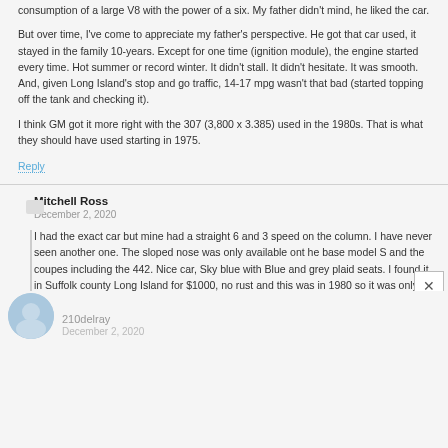consumption of a large V8 with the power of a six. My father didn't mind, he liked the car.
But over time, I've come to appreciate my father's perspective. He got that car used, it stayed in the family 10-years. Except for one time (ignition module), the engine started every time. Hot summer or record winter. It didn't stall. It didn't hesitate. It was smooth. And, given Long Island's stop and go traffic, 14-17 mpg wasn't that bad (started topping off the tank and checking it).
I think GM got it more right with the 307 (3,800 x 3.385) used in the 1980s. That is what they should have used starting in 1975.
Reply
Mitchell Ross
December 2, 2020
I had the exact car but mine had a straight 6 and 3 speed on the column. I have never seen another one. The sloped nose was only available ont he base model S and the coupes including the 442. Nice car, Sky blue with Blue and grey plaid seats. I found it in Suffolk county Long Island for $1000, no rust and this was in 1980 so it was only 4 years old. I would be surprised if there was even 1 of those left.
Reply
210delray